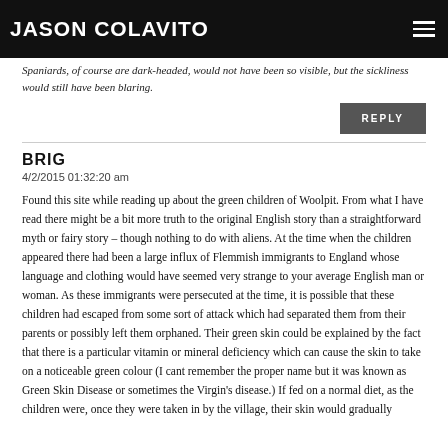JASON COLAVITO
Spaniards, of course are dark-headed, would not have been so visible, but the sickliness would still have been blaring.
REPLY
BRIG
4/2/2015 01:32:20 am
Found this site while reading up about the green children of Woolpit. From what I have read there might be a bit more truth to the original English story than a straightforward myth or fairy story – though nothing to do with aliens. At the time when the children appeared there had been a large influx of Flemmish immigrants to England whose language and clothing would have seemed very strange to your average English man or woman. As these immigrants were persecuted at the time, it is possible that these children had escaped from some sort of attack which had separated them from their parents or possibly left them orphaned. Their green skin could be explained by the fact that there is a particular vitamin or mineral deficiency which can cause the skin to take on a noticeable green colour (I cant remember the proper name but it was known as Green Skin Disease or sometimes the Virgin's disease.) If fed on a normal diet, as the children were, once they were taken in by the village, their skin would gradually